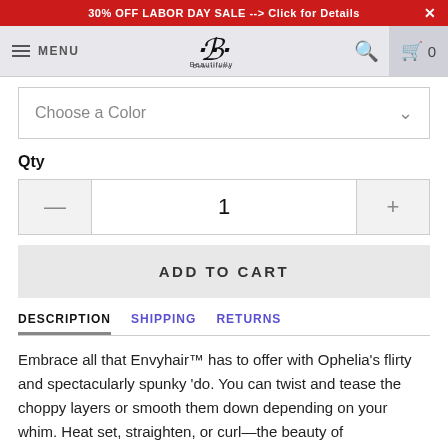30% OFF LABOR DAY SALE --> Click for Details  ×
MENU  B Beautifully  [search] [cart 0]
Choose a Color
Qty
1
ADD TO CART
DESCRIPTION  SHIPPING  RETURNS
Embrace all that Envyhair™ has to offer with Ophelia's flirty and spectacularly spunky 'do. You can twist and tease the choppy layers or smooth them down depending on your whim. Heat set, straighten, or curl—the beauty of